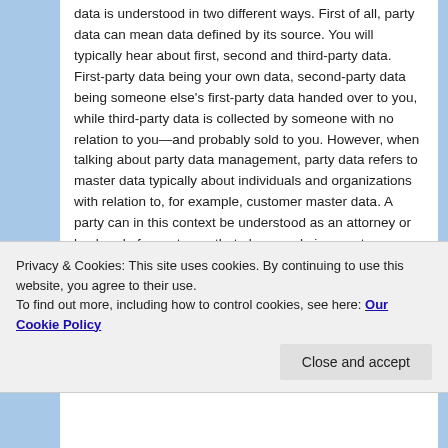data is understood in two different ways. First of all, party data can mean data defined by its source. You will typically hear about first, second and third-party data. First-party data being your own data, second-party data being someone else's first-party data handed over to you, while third-party data is collected by someone with no relation to you—and probably sold to you. However, when talking about party data management, party data refers to master data typically about individuals and organizations with relation to, for example, customer master data. A party can in this context be understood as an attorney or husband of a customer that plays a role in a customer transaction, and party data is then data referring to these parties. Party data management can be part of an MDM
Privacy & Cookies: This site uses cookies. By continuing to use this website, you agree to their use.
To find out more, including how to control cookies, see here: Our Cookie Policy
Close and accept